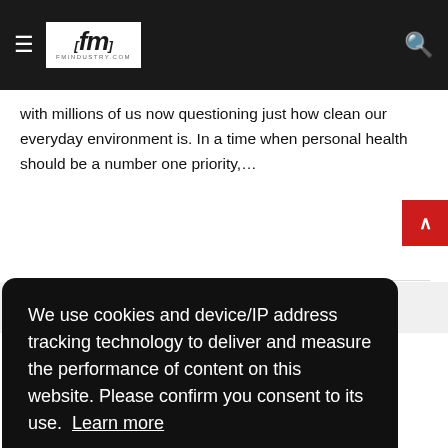FM Industry - fmindustry.com
Dan Teare, sector director for the proRS field service management platform from Crimson Tide, explains how to unlock value during cleaning operations. The pandemic has been an eye-opening experience, with millions of us now questioning just how clean our everyday environment is. In a time when personal health should be a number one priority,...
News
We use cookies and device/IP address tracking technology to deliver and measure the performance of content on this website. Please confirm you consent to its use.  Learn more
Got it